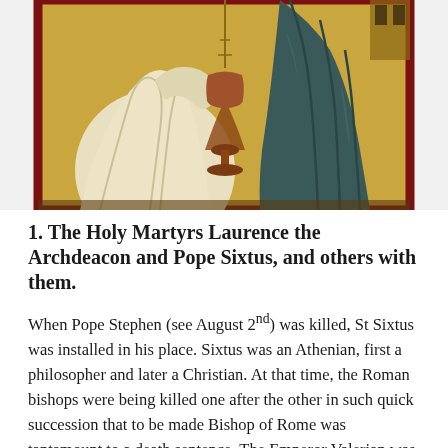[Figure (illustration): A religious icon painting showing two figures against a gold background with a red border frame. On the left is a figure in white/cream robes. In the center is a chalice/goblet. On the right is a figure in dark teal/blue-green robes. The style is Byzantine iconographic.]
1. The Holy Martyrs Laurence the Archdeacon and Pope Sixtus, and others with them.
When Pope Stephen (see August 2nd) was killed, St Sixtus was installed in his place. Sixtus was an Athenian, first a philosopher and later a Christian. At that time, the Roman bishops were being killed one after the other in such quick succession that to be made Bishop of Rome was tantamount to a death sentence. The Emperor Valerian was determined to stamp out